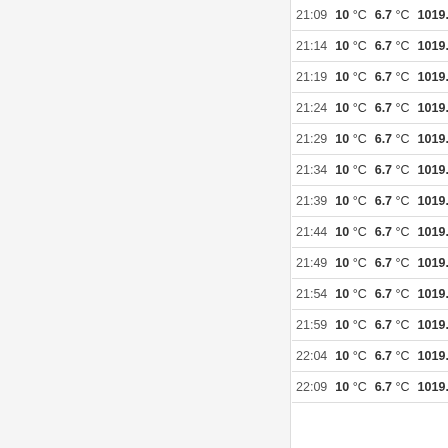| Time | Temp | Dew Point | Pressure | Wind |
| --- | --- | --- | --- | --- |
| 21:09 | 10 °C | 6.7 °C | 1019.2 hPa | Calm |
| 21:14 | 10 °C | 6.7 °C | 1019.2 hPa | Calm |
| 21:19 | 10 °C | 6.7 °C | 1019.2 hPa | Calm |
| 21:24 | 10 °C | 6.7 °C | 1019.2 hPa | Calm |
| 21:29 | 10 °C | 6.7 °C | 1019.2 hPa | Calm |
| 21:34 | 10 °C | 6.7 °C | 1019.2 hPa | Calm |
| 21:39 | 10 °C | 6.7 °C | 1019.2 hPa | Calm |
| 21:44 | 10 °C | 6.7 °C | 1019.2 hPa | Calm |
| 21:49 | 10 °C | 6.7 °C | 1019.2 hPa | Calm |
| 21:54 | 10 °C | 6.7 °C | 1019.2 hPa | Calm |
| 21:59 | 10 °C | 6.7 °C | 1019.2 hPa | Calm |
| 22:04 | 10 °C | 6.7 °C | 1019.2 hPa | Calm |
| 22:09 | 10 °C | 6.7 °C | 1019.2 hPa | Calm |